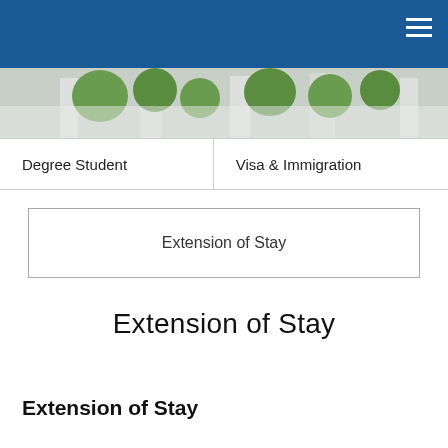[Figure (photo): Outdoor scene with green trees and building facade in grayscale]
Degree Student
Visa & Immigration
Extension of Stay
Extension of Stay
Extension of Stay